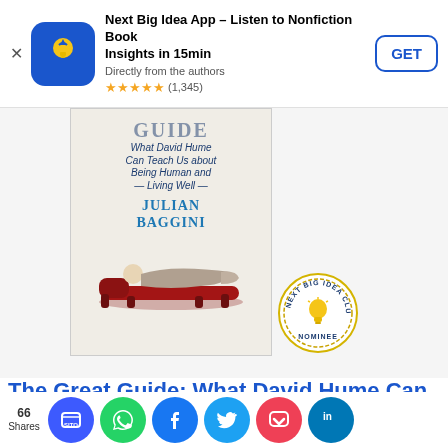[Figure (screenshot): App store ad banner for Next Big Idea App with blue icon, GET button, star rating (1,345 reviews)]
[Figure (photo): Book cover of 'The Great Guide: What David Hume Can Teach Us about Being Human and Living Well' by Julian Baggini, showing a figure reclining on a red chaise lounge. Next Big Idea Club Nominee badge overlaid on cover.]
The Great Guide: What David Hume Can Teach Us about Being Human and Living Well
[Figure (infographic): Social share buttons: SITO (blue), WhatsApp (green), Facebook (blue), Twitter (cyan), Pocket (red), LinkedIn (blue). Share count: 66 Shares.]